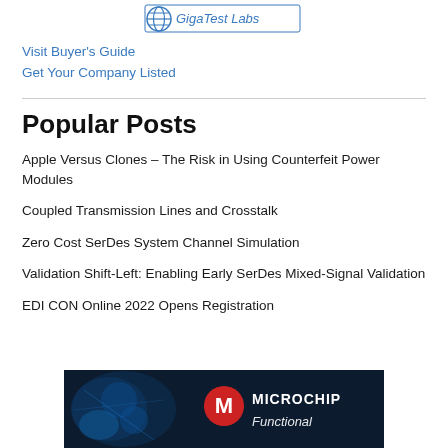[Figure (logo): GigaTest Labs logo with globe icon]
Visit Buyer's Guide
Get Your Company Listed
Popular Posts
Apple Versus Clones – The Risk in Using Counterfeit Power Modules
Coupled Transmission Lines and Crosstalk
Zero Cost SerDes System Channel Simulation
Validation Shift-Left: Enabling Early SerDes Mixed-Signal Validation
EDI CON Online 2022 Opens Registration
[Figure (logo): Microchip Technology advertisement banner with 'Functional' text partially visible]